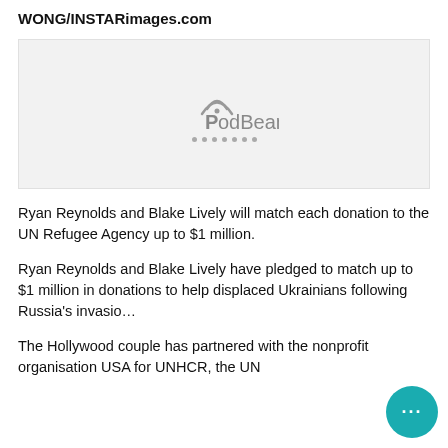WONG/INSTARimages.com
[Figure (logo): PodBean podcast player placeholder box with PodBean logo and loading dots]
Ryan Reynolds and Blake Lively will match each donation to the UN Refugee Agency up to $1 million.
Ryan Reynolds and Blake Lively have pledged to match up to $1 million in donations to help displaced Ukrainians following Russia’s invasio…
The Hollywood couple has partnered with the nonprofit organisation USA for UNHCR, the UN